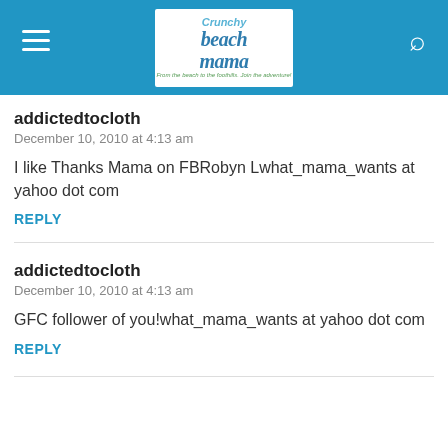Crunchy Beach Mama
addictedtocloth
December 10, 2010 at 4:13 am
I like Thanks Mama on FBRobyn Lwhat_mama_wants at yahoo dot com
REPLY
addictedtocloth
December 10, 2010 at 4:13 am
GFC follower of you!what_mama_wants at yahoo dot com
REPLY